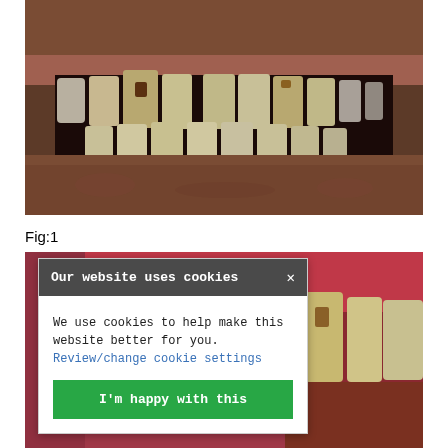[Figure (photo): Close-up photograph of a patient's mouth showing teeth with dental decay, discoloration, crowding, and cavities — a pre-treatment dental clinical photograph.]
Fig:1
[Figure (photo): Close-up photograph of patient's teeth from a lower/side angle showing more dental detail, partially obscured by a cookie consent overlay.]
Our website uses cookies
We use cookies to help make this website better for you. Review/change cookie settings
I'm happy with this